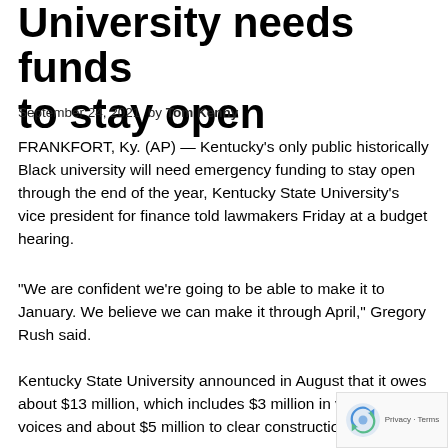University needs funds to stay open
September 24, 2021  by Tom Kenny
FRANKFORT, Ky. (AP) — Kentucky's only public historically Black university will need emergency funding to stay open through the end of the year, Kentucky State University's vice president for finance told lawmakers Friday at a budget hearing.
“We are confident we’re going to be able to make it to January. We believe we can make it through April,” Gregory Rush said.
Kentucky State University announced in August that it owes about $13 million, which includes $3 million in vendor invoices and about $5 million to clear construction invoices.